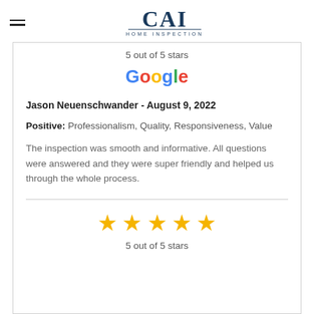[Figure (illustration): Hamburger menu icon (two horizontal lines)]
[Figure (logo): CAI Home Inspection logo with serif letters CAI and underline, HOME INSPECTION below]
5 out of 5 stars
[Figure (logo): Google logo in multicolor letters]
Jason Neuenschwander - August 9, 2022
Positive: Professionalism, Quality, Responsiveness, Value
The inspection was smooth and informative. All questions were answered and they were super friendly and helped us through the whole process.
[Figure (illustration): Five gold star rating icons]
5 out of 5 stars